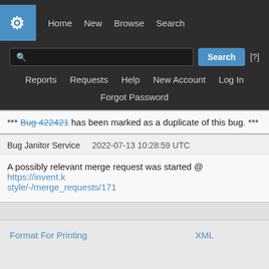[Figure (screenshot): KDE Bugzilla navigation header with logo, search bar, and nav links including Home, New, Browse, Search, Reports, Requests, Help, New Account, Log In, Forgot Password]
*** Bug 422421 has been marked as a duplicate of this bug. ***
Bug Janitor Service   2022-07-13 10:28:59 UTC
A possibly relevant merge request was started @ https://invent.k style/-/merge_requests/171
Format For Printing        XML